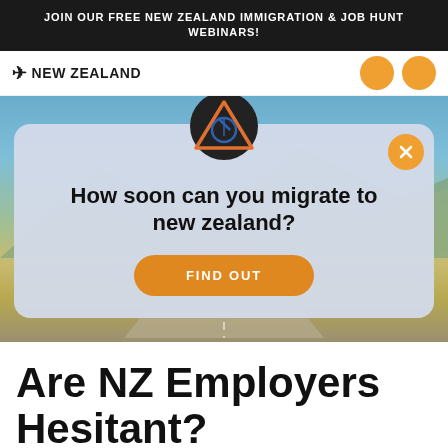JOIN OUR FREE NEW ZEALAND IMMIGRATION & JOB HUNT WEBINARS!
[Figure (screenshot): New Zealand immigration website screenshot showing navigation bar with bird logo and NEW ZEALAND text, hero background image of scenic road through lavender fields with mountains, and a modal popup dialog]
How soon can you migrate to new zealand?
FIND OUT
Are NZ Employers Hesitant?